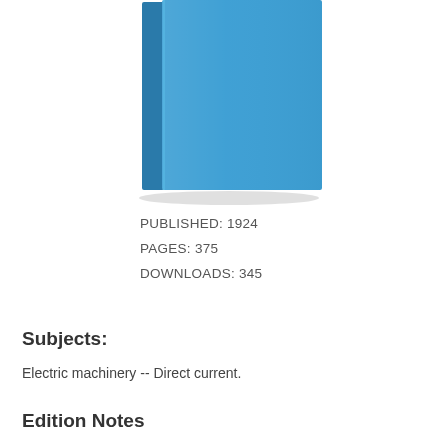[Figure (illustration): Blue hardcover book shown from a slight angle, displaying the spine and front cover in solid blue (#3a8fc0 / #4da6d5 tones). The spine is a darker blue strip on the left side of the book.]
PUBLISHED: 1924
PAGES: 375
DOWNLOADS: 345
Subjects:
Electric machinery -- Direct current.
Edition Notes